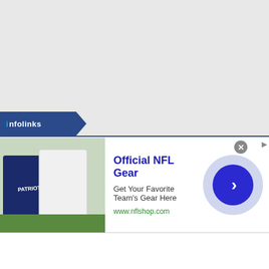[Figure (screenshot): Infolinks advertisement bar at the bottom of a web page. Shows 'infolinks' branding tab, an NFL Shop ad with image of NFL jerseys, title 'Official NFL Gear', description 'Get Your Favorite Team's Gear Here', URL 'www.nflshop.com', a close button, and a navigation arrow circle.]
Official NFL Gear
Get Your Favorite Team's Gear Here
www.nflshop.com